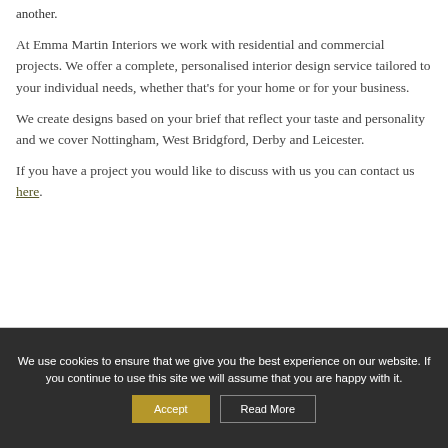another.
At Emma Martin Interiors we work with residential and commercial projects. We offer a complete, personalised interior design service tailored to your individual needs, whether that's for your home or for your business.
We create designs based on your brief that reflect your taste and personality and we cover Nottingham, West Bridgford, Derby and Leicester.
If you have a project you would like to discuss with us you can contact us here.
We use cookies to ensure that we give you the best experience on our website. If you continue to use this site we will assume that you are happy with it.